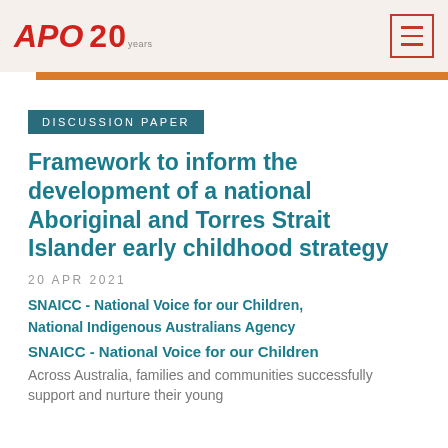APO 20 years
DISCUSSION PAPER
Framework to inform the development of a national Aboriginal and Torres Strait Islander early childhood strategy
20 APR 2021
SNAICC - National Voice for our Children, National Indigenous Australians Agency
SNAICC - National Voice for our Children
Across Australia, families and communities successfully support and nurture their young